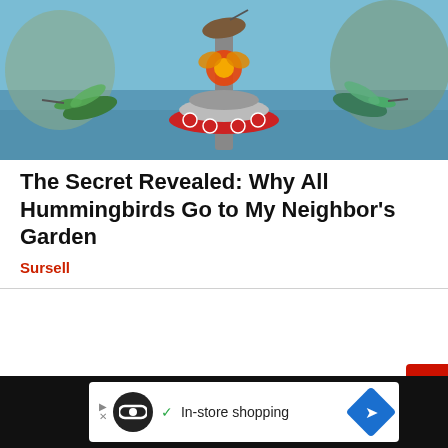[Figure (photo): Hummingbirds gathered around a red hanging bird feeder against a blue sky/water background, with monarch butterflies visible at the top]
The Secret Revealed: Why All Hummingbirds Go to My Neighbor's Garden
Sursell
[Figure (screenshot): Advertisement bar at bottom showing a dark background with a white content area. Contains a circular black logo, checkmark icon, text 'In-store shopping', a blue diamond-shaped icon with a right arrow, and navigation/close elements. Red close button (×) visible at right edge.]